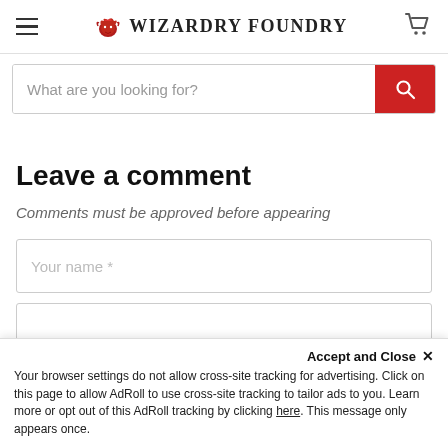Wizardry Foundry
What are you looking for?
Leave a comment
Comments must be approved before appearing
Your name *
Accept and Close ×
Your browser settings do not allow cross-site tracking for advertising. Click on this page to allow AdRoll to use cross-site tracking to tailor ads to you. Learn more or opt out of this AdRoll tracking by clicking here. This message only appears once.